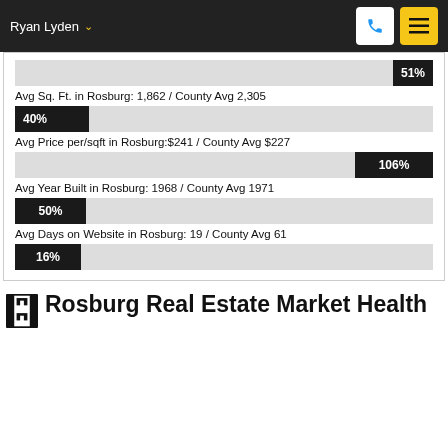Ryan Lyden
[Figure (bar-chart): Avg Sq. Ft. in Rosburg: 1,862 / County Avg 2,305]
Avg Sq. Ft. in Rosburg: 1,862 / County Avg 2,305
[Figure (bar-chart): Avg Price per/sqft in Rosburg:$241 / County Avg $227]
Avg Price per/sqft in Rosburg:$241 / County Avg $227
[Figure (bar-chart): Avg Year Built in Rosburg: 1968 / County Avg 1971]
Avg Year Built in Rosburg: 1968 / County Avg 1971
[Figure (bar-chart): Avg Days on Website in Rosburg: 19 / County Avg 61]
Avg Days on Website in Rosburg: 19 / County Avg 61
[Figure (bar-chart): 16%]
Rosburg Real Estate Market Health